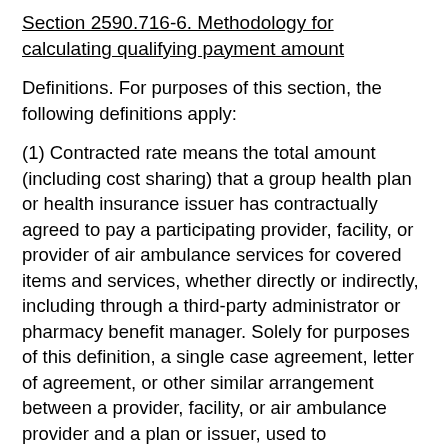Section 2590.716-6. Methodology for calculating qualifying payment amount
Definitions. For purposes of this section, the following definitions apply:
(1) Contracted rate means the total amount (including cost sharing) that a group health plan or health insurance issuer has contractually agreed to pay a participating provider, facility, or provider of air ambulance services for covered items and services, whether directly or indirectly, including through a third-party administrator or pharmacy benefit manager. Solely for purposes of this definition, a single case agreement, letter of agreement, or other similar arrangement between a provider, facility, or air ambulance provider and a plan or issuer, used to supplement the network of the plan or coverage for a specific participant or beneficiary in unique circumstances, does not constitute a contract